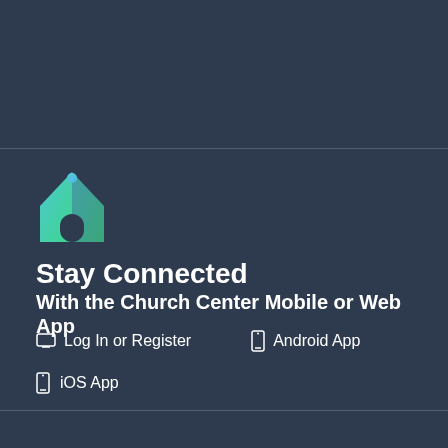[Figure (logo): Church Center app logo — a house shape with teal-to-green gradient walls and a dark pointed arch doorway, with a small person figure at the top center in blue/teal gradient]
Stay Connected
With the Church Center Mobile or Web App
Log In or Register
Android App
iOS App